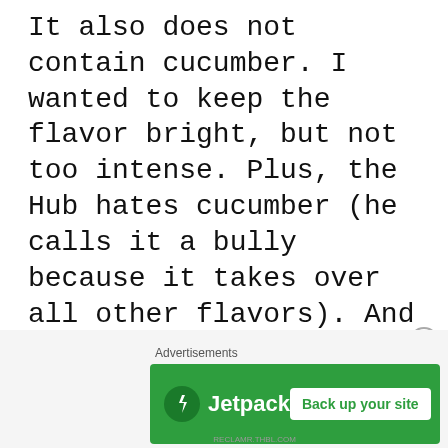It also does not contain cucumber. I wanted to keep the flavor bright, but not too intense. Plus, the Hub hates cucumber (he calls it a bully because it takes over all other flavors). And final reason? I didn't have cucumber in my fridge upon making this gazpacho.

Please, friends, use what you've got! You'll most likely be pleasantly surprised!
[Figure (other): Jetpack advertisement banner with green background showing Jetpack logo and 'Back up your site' button]